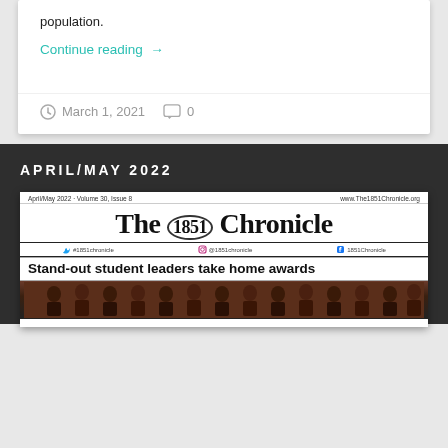population.
Continue reading →
March 1, 2021   0
APRIL/MAY 2022
[Figure (screenshot): Screenshot of The 1851 Chronicle newspaper front page for April/May 2022, Volume 30, Issue 8. Headline reads: Stand-out student leaders take home awards. Shows newspaper masthead and a group photo of students.]